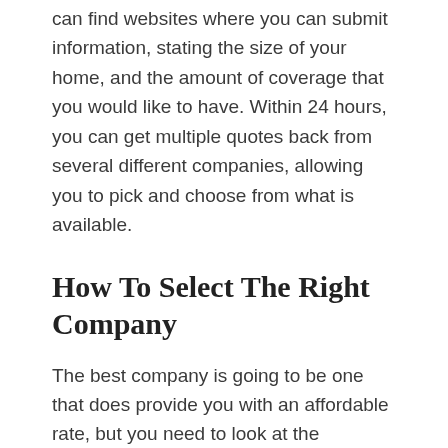can find websites where you can submit information, stating the size of your home, and the amount of coverage that you would like to have. Within 24 hours, you can get multiple quotes back from several different companies, allowing you to pick and choose from what is available.
How To Select The Right Company
The best company is going to be one that does provide you with an affordable rate, but you need to look at the coverage. The amount of coverage that you have for your home needs to completely replace everything, providing you with the money that it would cost today, not when you bought the home, to fully restore what has been damaged or lost. That is how you choose a